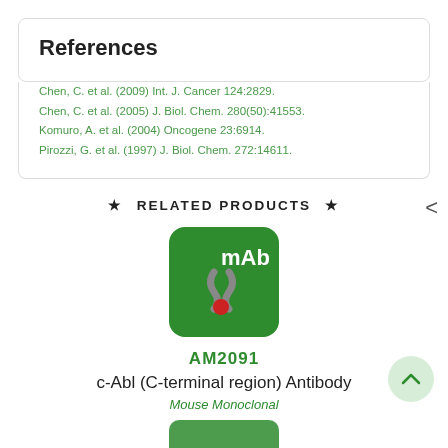References
Chen, C. et al. (2009) Int. J. Cancer 124:2829.
Chen, C. et al. (2005) J. Biol. Chem. 280(50):41553.
Komuro, A. et al. (2004) Oncogene 23:6914.
Pirozzi, G. et al. (1997) J. Biol. Chem. 272:14611.
RELATED PRODUCTS
[Figure (logo): Green rounded square icon with mAb logo - stylized S-shaped antibody symbol in gray with red dot, white mAb text]
AM2091
c-Abl (C-terminal region) Antibody
Mouse Monoclonal